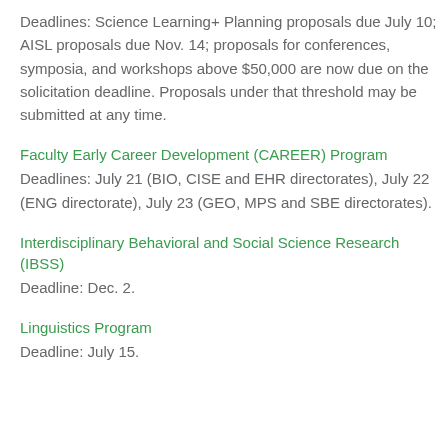Deadlines: Science Learning+ Planning proposals due July 10; AISL proposals due Nov. 14; proposals for conferences, symposia, and workshops above $50,000 are now due on the solicitation deadline. Proposals under that threshold may be submitted at any time.
Faculty Early Career Development (CAREER) Program
Deadlines: July 21 (BIO, CISE and EHR directorates), July 22 (ENG directorate), July 23 (GEO, MPS and SBE directorates).
Interdisciplinary Behavioral and Social Science Research (IBSS)
Deadline: Dec. 2.
Linguistics Program
Deadline: July 15.